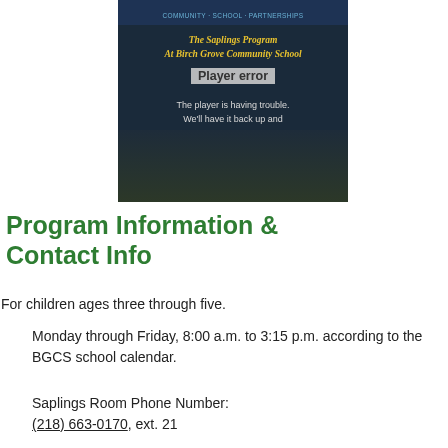[Figure (screenshot): Video player showing 'Player error' overlay on top of a promotional image for 'The Saplings Program At Birch Grove Community School'. The error message reads: 'The player is having trouble. We'll have it back up and running as soon as possible.']
Program Information & Contact Info
For children ages three through five.
Monday through Friday, 8:00 a.m. to 3:15 p.m. according to the BGCS school calendar.
Saplings Room Phone Number:
(218) 663-0170, ext. 21